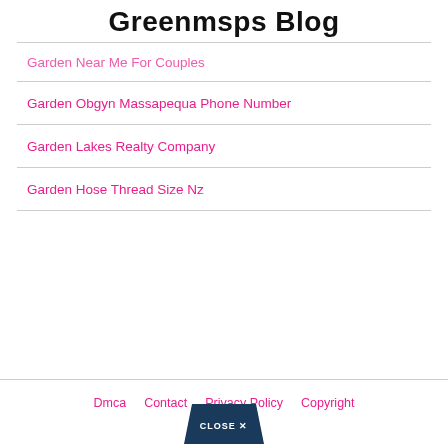Greenmsps Blog
Garden Near Me For Couples
Garden Obgyn Massapequa Phone Number
Garden Lakes Realty Company
Garden Hose Thread Size Nz
Dmca   Contact   Privacy Policy   Copyright